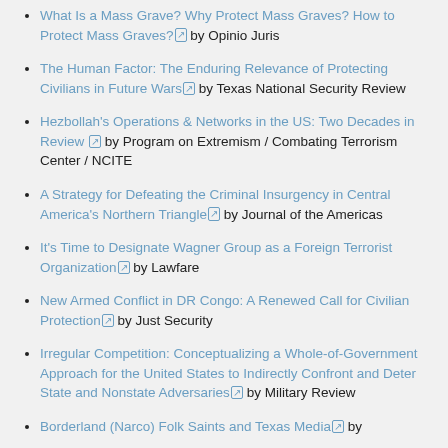What Is a Mass Grave? Why Protect Mass Graves? How to Protect Mass Graves? by Opinio Juris
The Human Factor: The Enduring Relevance of Protecting Civilians in Future Wars by Texas National Security Review
Hezbollah's Operations & Networks in the US: Two Decades in Review by Program on Extremism / Combating Terrorism Center / NCITE
A Strategy for Defeating the Criminal Insurgency in Central America's Northern Triangle by Journal of the Americas
It's Time to Designate Wagner Group as a Foreign Terrorist Organization by Lawfare
New Armed Conflict in DR Congo: A Renewed Call for Civilian Protection by Just Security
Irregular Competition: Conceptualizing a Whole-of-Government Approach for the United States to Indirectly Confront and Deter State and Nonstate Adversaries by Military Review
Borderland (Narco) Folk Saints and Texas Media by